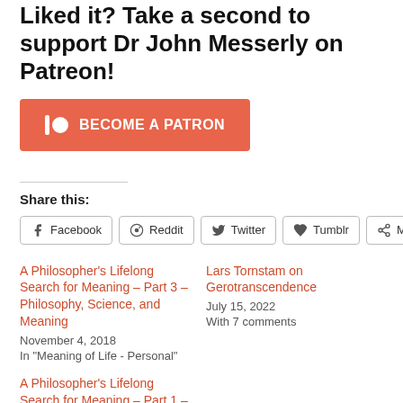Liked it? Take a second to support Dr John Messerly on Patreon!
[Figure (other): Become a Patron button — orange/red rectangle with Patreon icon and text BECOME A PATRON]
Share this:
Facebook
Reddit
Twitter
Tumblr
More
A Philosopher's Lifelong Search for Meaning – Part 3 – Philosophy, Science, and Meaning
November 4, 2018
In "Meaning of Life - Personal"
Lars Tornstam on Gerotranscendence
July 15, 2022
With 7 comments
A Philosopher's Lifelong Search for Meaning – Part 1 – Life and Meaning
October 21, 2018